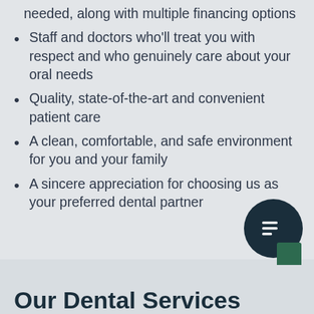needed, along with multiple financing options
Staff and doctors who’ll treat you with respect and who genuinely care about your oral needs
Quality, state-of-the-art and convenient patient care
A clean, comfortable, and safe environment for you and your family
A sincere appreciation for choosing us as your preferred dental partner
Our Dental Services